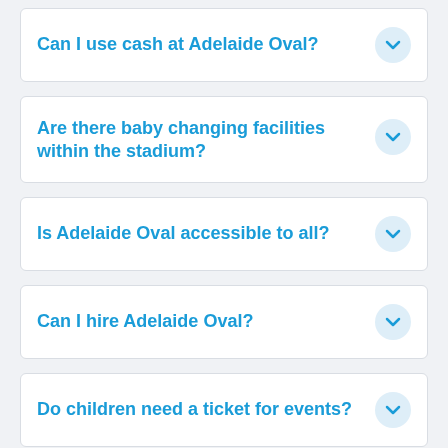Can I use cash at Adelaide Oval?
Are there baby changing facilities within the stadium?
Is Adelaide Oval accessible to all?
Can I hire Adelaide Oval?
Do children need a ticket for events?
I have a problem with the tickets I purchased/the seat ticket/